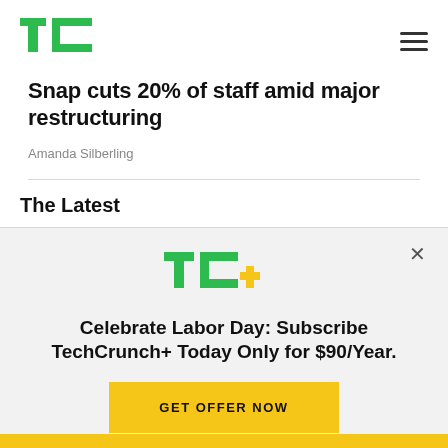TechCrunch logo and navigation menu
Snap cuts 20% of staff amid major restructuring
Amanda Silberling
The Latest
[Figure (logo): TechCrunch+ logo in green with a yellow plus sign]
Celebrate Labor Day: Subscribe TechCrunch+ Today Only for $90/Year.
GET OFFER NOW